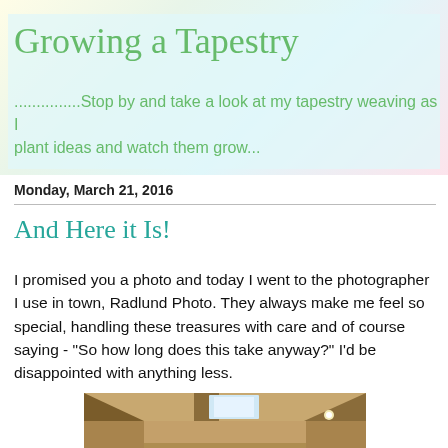Growing a Tapestry
...............Stop by and take a look at my tapestry weaving as I plant ideas and watch them grow...
Monday, March 21, 2016
And Here it Is!
I promised you a photo and today I went to the photographer I use in town, Radlund Photo. They always make me feel so special, handling these treasures with care and of course saying - "So how long does this take anyway?" I'd be disappointed with anything less.
[Figure (photo): Interior room photo showing wooden ceiling beams, skylights, and walls with warm lighting]